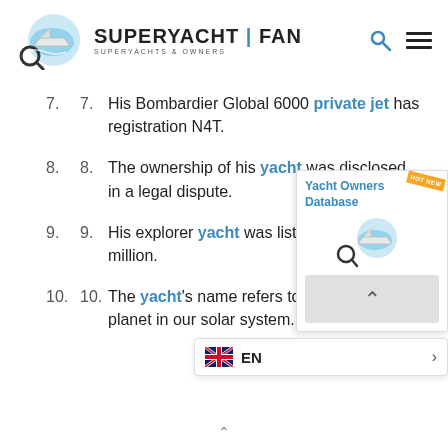SUPERYACHT | FAN — SUPERYACHTS & OWNERS
7. His Bombardier Global 6000 private jet has registration N4T.
8. The ownership of his yacht was disclosed [in] a legal dispute.
9. His explorer yacht was listed for sale as [approximately] 85 million.
10. The yacht's name refers to a hy[pothetical] [planet in our] solar system.
[Figure (logo): Yacht Owners Database promotional widget with logo and scroll button]
[Figure (screenshot): Language selector bar showing EN with UK flag]